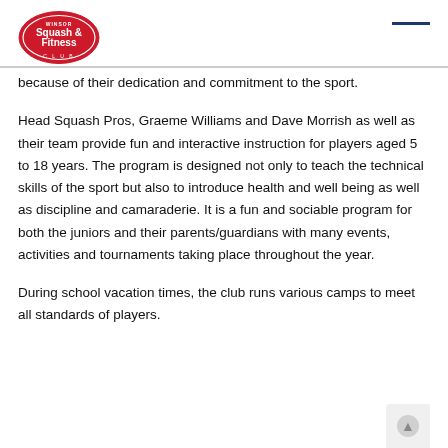Squash & Fitness Club logo
because of their dedication and commitment to the sport.
Head Squash Pros, Graeme Williams and Dave Morrish as well as their team provide fun and interactive instruction for players aged 5 to 18 years. The program is designed not only to teach the technical skills of the sport but also to introduce health and well being as well as discipline and camaraderie. It is a fun and sociable program for both the juniors and their parents/guardians with many events, activities and tournaments taking place throughout the year.
During school vacation times, the club runs various camps to meet all standards of players.